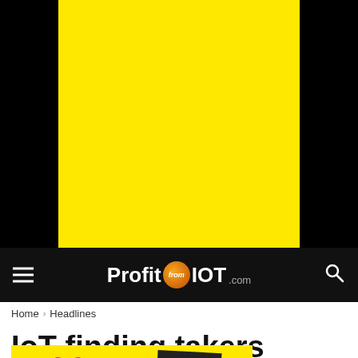[Figure (other): Large yellow advertisement banner at top of page against black background]
ProfitfromIOT.com
Home › Headlines
IoT finding takers among Lo... He...
[Figure (other): Yellow advertisement overlay at bottom with red heart and Express newspaper logo]